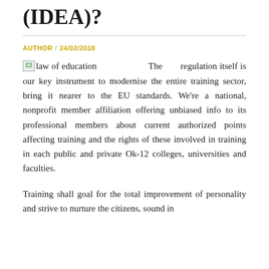(IDEA)?
AUTHOR / 24/02/2018
The regulation itself is our key instrument to modernise the entire training sector, bring it nearer to the EU standards. We're a national, nonprofit member affiliation offering unbiased info to its professional members about current authorized points affecting training and the rights of these involved in training in each public and private Ok-12 colleges, universities and faculties.
Training shall goal for the total improvement of personality and strive to nurture the citizens, sound in